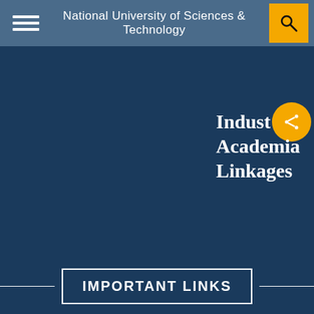National University of Sciences & Technology
Industry Academia Linkages
IMPORTANT LINKS